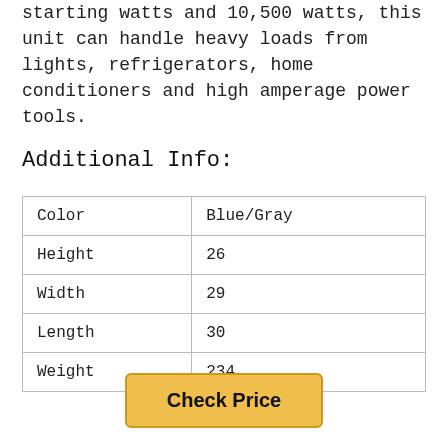starting watts and 10,500 watts, this unit can handle heavy loads from lights, refrigerators, home conditioners and high amperage power tools.
Additional Info:
| Color | Blue/Gray |
| Height | 26 |
| Width | 29 |
| Length | 30 |
| Weight | 234 |
Check Price